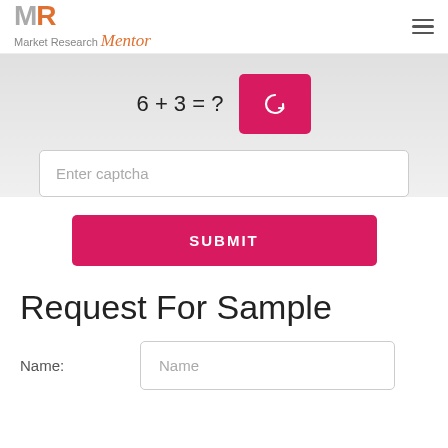Market Research Mentor
[Figure (screenshot): CAPTCHA math challenge showing '6 + 3 = ?' with a pink refresh button, a text input labeled 'Enter captcha', and a pink SUBMIT button]
Request For Sample
Name:
[Figure (screenshot): Name input field with placeholder 'Name']